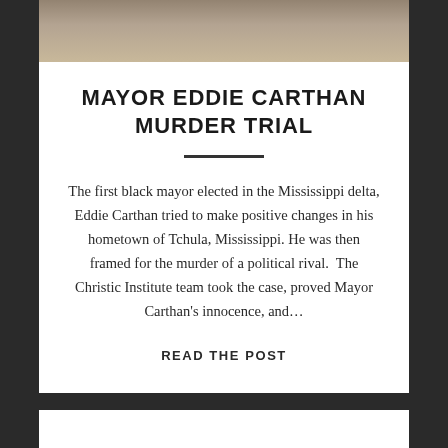[Figure (photo): Sepia-toned historical photograph strip showing people, partially visible at top of card]
MAYOR EDDIE CARTHAN MURDER TRIAL
The first black mayor elected in the Mississippi delta, Eddie Carthan tried to make positive changes in his hometown of Tchula, Mississippi. He was then framed for the murder of a political rival.  The Christic Institute team took the case, proved Mayor Carthan's innocence, and…
READ THE POST